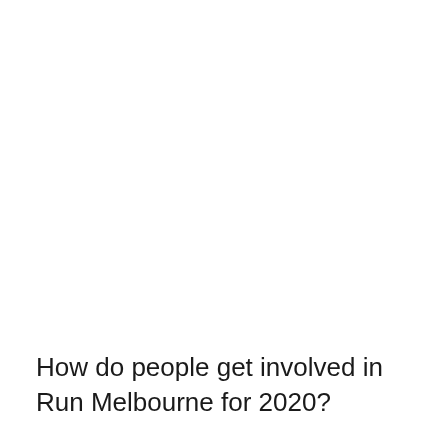How do people get involved in Run Melbourne for 2020?